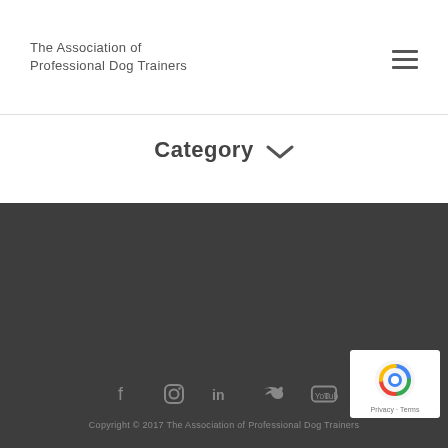The Association of Professional Dog Trainers
Category
Professional trick dog training is a rapidly growing part of the pet industry. Sara...
Copyright © 2017 The Association of Professional Dog Trainers